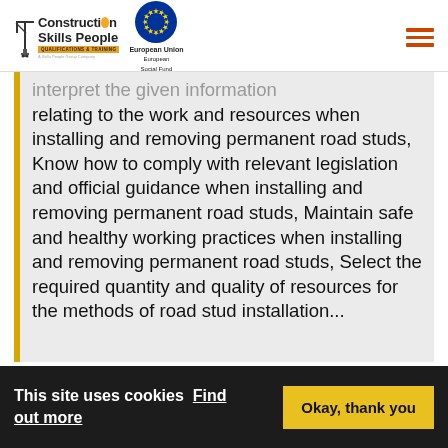[Figure (logo): Construction Skills People Qualifications & Training logo with crane icon and European Union European Social Fund logo]
interpret the given information relating to the work and resources when installing and removing permanent road studs, Know how to comply with relevant legislation and official guidance when installing and removing permanent road studs, Maintain safe and healthy working practices when installing and removing permanent road studs, Select the required quantity and quality of resources for the methods of road stud installation...
This site uses cookies Find out more
Okay, thank you